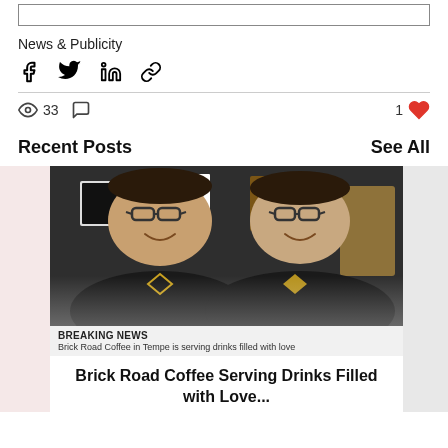News & Publicity
Share icons: Facebook, Twitter, LinkedIn, Link
33 views, 0 comments, 1 like
Recent Posts
See All
[Figure (photo): Two men in black t-shirts with diamond logo smiling in a coffee shop kitchen]
BREAKING NEWS
Brick Road Coffee in Tempe is serving drinks filled with love
Brick Road Coffee Serving Drinks Filled with Love...